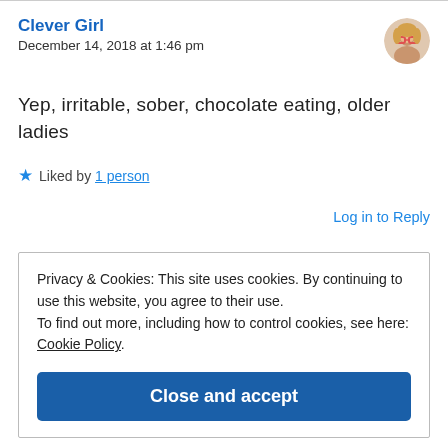Clever Girl
December 14, 2018 at 1:46 pm
Yep, irritable, sober, chocolate eating, older ladies
★ Liked by 1 person
Log in to Reply
Privacy & Cookies: This site uses cookies. By continuing to use this website, you agree to their use. To find out more, including how to control cookies, see here: Cookie Policy
Close and accept